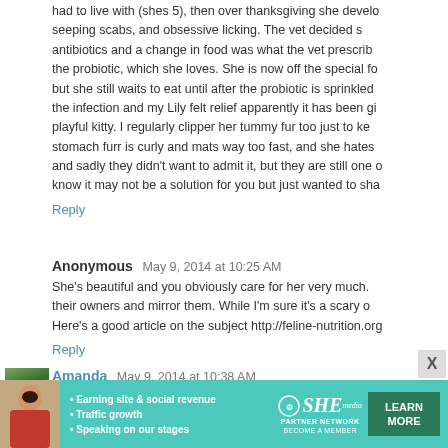had to live with (shes 5), then over thanksgiving she developed seeping scabs, and obsessive licking. The vet decided s antibiotics and a change in food was what the vet prescrib the probiotic, which she loves. She is now off the special fo but she still waits to eat until after the probiotic is sprinkled the infection and my Lily felt relief apparently it has been gi playful kitty. I regularly clipper her tummy fur too just to ke stomach furr is curly and mats way too fast, and she hates and sadly they didn't want to admit it, but they are still one o know it may not be a solution for you but just wanted to sha
Reply
Anonymous  May 9, 2014 at 10:25 AM
She's beautiful and you obviously care for her very much. their owners and mirror them. While I'm sure it's a scary o Here's a good article on the subject http://feline-nutrition.org
Reply
[Figure (photo): Avatar photo of Amanda - outdoor scene with trees]
Amanda  May 9, 2014 at 10:38 AM
Wow, Lily's eyes are gorgeous! I hope you find a solut have an overgrooming problem (in fact, he pretty mu
[Figure (infographic): SHE Partner Network advertisement banner - Earning site & social revenue, Traffic growth, Speaking on our stages - LEARN MORE button]